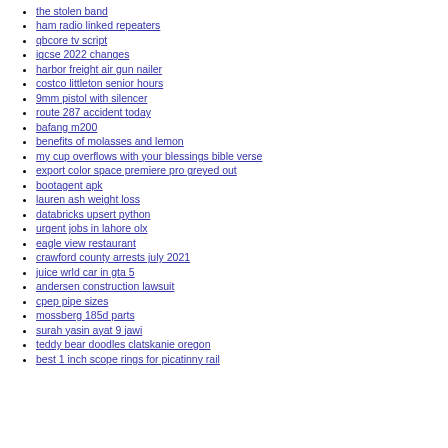the stolen band
ham radio linked repeaters
qbcore tv script
igcse 2022 changes
harbor freight air gun nailer
costco littleton senior hours
9mm pistol with silencer
route 287 accident today
bafang m200
benefits of molasses and lemon
my cup overflows with your blessings bible verse
export color space premiere pro greyed out
bootagent apk
lauren ash weight loss
databricks upsert python
urgent jobs in lahore olx
eagle view restaurant
crawford county arrests july 2021
juice wrld car in gta 5
andersen construction lawsuit
cpep pipe sizes
mossberg 185d parts
surah yasin ayat 9 jawi
teddy bear doodles clatskanie oregon
best 1 inch scope rings for picatinny rail